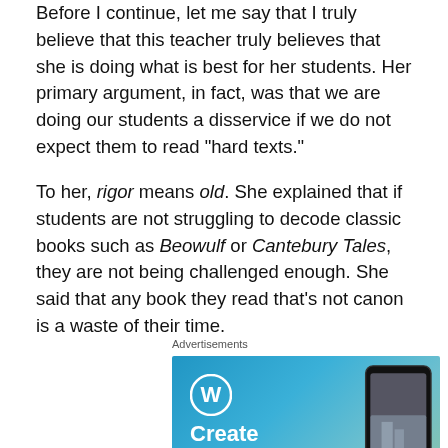Before I continue, let me say that I truly believe that this teacher truly believes that she is doing what is best for her students. Her primary argument, in fact, was that we are doing our students a disservice if we do not expect them to read “hard texts.”
To her, rigor means old. She explained that if students are not struggling to decode classic books such as Beowulf or Cantebury Tales, they are not being challenged enough. She said that any book they read that’s not canon is a waste of their time.
Advertisements
[Figure (illustration): WordPress advertisement banner with blue-green gradient background, WordPress logo (W in circle), text 'Create immersive', a smartphone mockup showing a travel photo with 'VISITING SKOGAFOSS' pill label.]